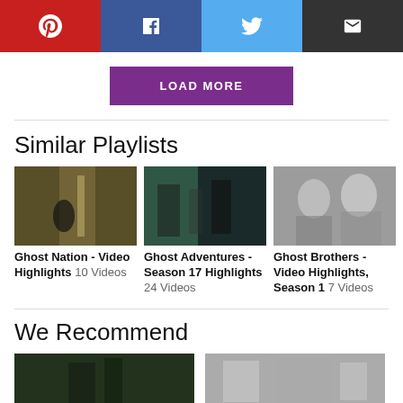[Figure (infographic): Social share bar with Pinterest (red), Facebook (dark blue), Twitter (light blue), and Email (dark grey) buttons]
LOAD MORE
Similar Playlists
[Figure (photo): Ghost Nation - Video Highlights playlist thumbnail: person in stairway/tunnel]
[Figure (photo): Ghost Adventures - Season 17 Highlights playlist thumbnail: two people standing outside building]
[Figure (photo): Ghost Brothers - Video Highlights, Season 1 playlist thumbnail: black and white photo of two men]
Ghost Nation - Video Highlights 10 Videos
Ghost Adventures - Season 17 Highlights 24 Videos
Ghost Brothers - Video Highlights, Season 1 7 Videos
We Recommend
[Figure (photo): We Recommend section thumbnail 1: dark outdoor scene]
[Figure (photo): We Recommend section thumbnail 2: grey/muted scene]